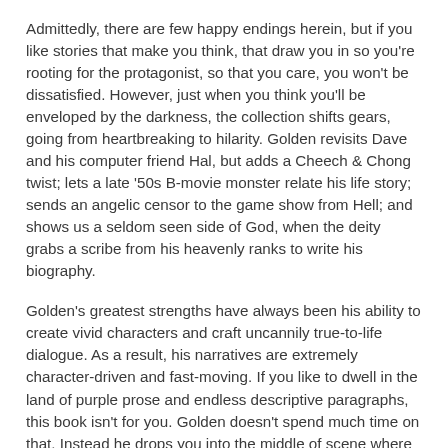Admittedly, there are few happy endings herein, but if you like stories that make you think, that draw you in so you're rooting for the protagonist, so that you care, you won't be dissatisfied. However, just when you think you'll be enveloped by the darkness, the collection shifts gears, going from heartbreaking to hilarity. Golden revisits Dave and his computer friend Hal, but adds a Cheech & Chong twist; lets a late '50s B-movie monster relate his life story; sends an angelic censor to the game show from Hell; and shows us a seldom seen side of God, when the deity grabs a scribe from his heavenly ranks to write his biography.
Golden's greatest strengths have always been his ability to create vivid characters and craft uncannily true-to-life dialogue. As a result, his narratives are extremely character-driven and fast-moving. If you like to dwell in the land of purple prose and endless descriptive paragraphs, this book isn't for you. Golden doesn't spend much time on that. Instead he drops you into the middle of scene where things are already happening.
After each tale Golden includes a little epilogue that I found